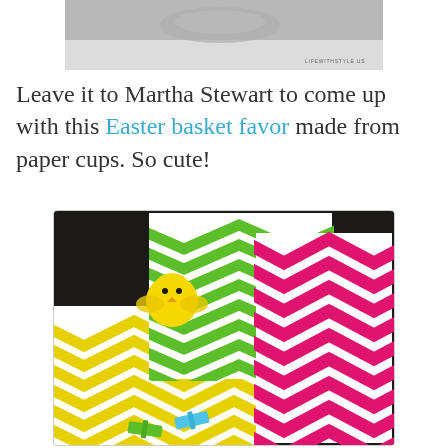[Figure (photo): Partially visible top image, cropped, showing indistinct objects on a light background with a small watermark/text in bottom right corner.]
Leave it to Martha Stewart to come up with this Easter basket favor made from paper cups. So cute!
[Figure (photo): Photo of colorful chevron-patterned paper bags or wrapping paper in yellow, green, and hot pink/magenta colors, with a small yellow fluffy chick toy and colorful clothespins at the bottom, on a dark background.]